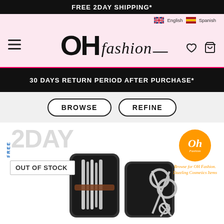FREE 2DAY SHIPPING*
[Figure (logo): OH fashion logo with hamburger menu, heart and cart icons on pink background]
30 DAYS RETURN PERIOD AFTER PURCHASE*
BROWSE    REFINE
[Figure (photo): Manicure set with scissors and tools in black case, with OUT OF STOCK badge and OH Fashion orange logo]
OUT OF STOCK
Browse for OH Fashion. Dazzling Cosmetics Items